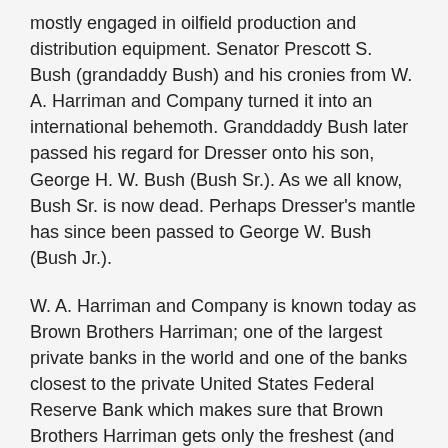mostly engaged in oilfield production and distribution equipment. Senator Prescott S. Bush (grandaddy Bush) and his cronies from W. A. Harriman and Company turned it into an international behemoth. Granddaddy Bush later passed his regard for Dresser onto his son, George H. W. Bush (Bush Sr.). As we all know, Bush Sr. is now dead. Perhaps Dresser's mantle has since been passed to George W. Bush (Bush Jr.).
W. A. Harriman and Company is known today as Brown Brothers Harriman; one of the largest private banks in the world and one of the banks closest to the private United States Federal Reserve Bank which makes sure that Brown Brothers Harriman gets only the freshest (and most valuable) of capital. The author has seen no evidence indicating that the Bush family or their Brown Brothers Harriman bank has since divested itself from Dresser.